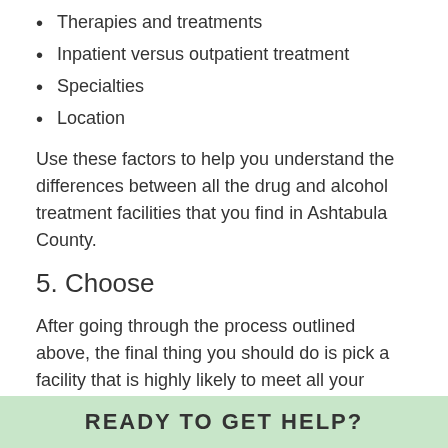Therapies and treatments
Inpatient versus outpatient treatment
Specialties
Location
Use these factors to help you understand the differences between all the drug and alcohol treatment facilities that you find in Ashtabula County.
5. Choose
After going through the process outlined above, the final thing you should do is pick a facility that is highly likely to meet all your needs and requirements for addiction treatment in Ashtabula County.
READY TO GET HELP?